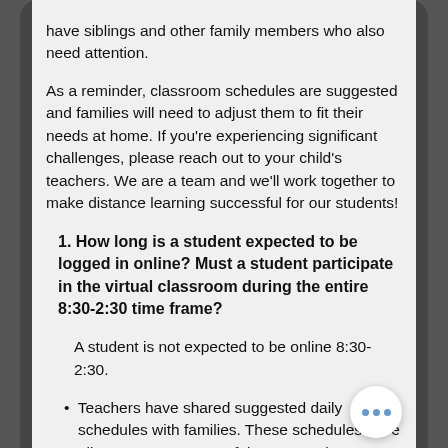have siblings and other family members who also need attention.
As a reminder, classroom schedules are suggested and families will need to adjust them to fit their needs at home. If you're experiencing significant challenges, please reach out to your child's teachers. We are a team and we'll work together to make distance learning successful for our students!
1. How long is a student expected to be logged in online? Must a student participate in the virtual classroom during the entire 8:30-2:30 time frame? A student is not expected to be online 8:30-2:30.
Teachers have shared suggested daily schedules with families. These schedules have allocated a set amount of time per period as a guideline of what students should be doing at that...